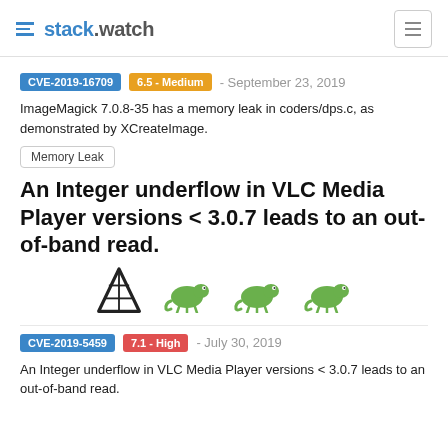stack.watch
CVE-2019-16709  6.5 - Medium  - September 23, 2019
ImageMagick 7.0.8-35 has a memory leak in coders/dps.c, as demonstrated by XCreateImage.
Memory Leak
An Integer underflow in VLC Media Player versions < 3.0.7 leads to an out-of-band read.
[Figure (logo): VLC media player cone logo and three SUSE Linux chameleon logos]
CVE-2019-5459  7.1 - High  - July 30, 2019
An Integer underflow in VLC Media Player versions < 3.0.7 leads to an out-of-band read.